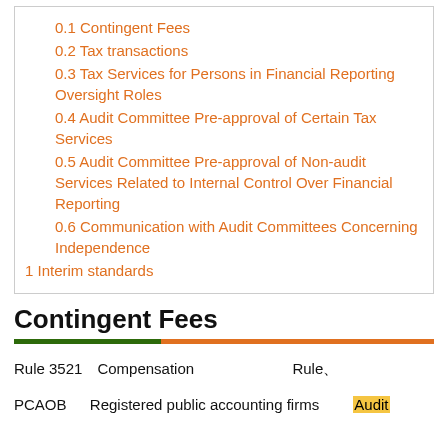0.1 Contingent Fees
0.2 Tax transactions
0.3 Tax Services for Persons in Financial Reporting Oversight Roles
0.4 Audit Committee Pre-approval of Certain Tax Services
0.5 Audit Committee Pre-approval of Non-audit Services Related to Internal Control Over Financial Reporting
0.6 Communication with Audit Committees Concerning Independence
1 Interim standards
Contingent Fees
Rule 3521【Compensation 【【【【【【 Rule】
PCAOB 【 Registered public accounting firms 【【Audit